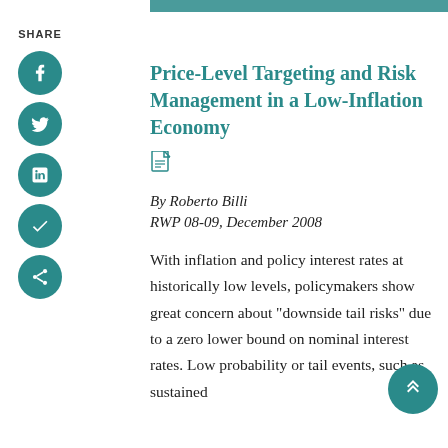SHARE
Price-Level Targeting and Risk Management in a Low-Inflation Economy
[Figure (other): PDF document icon]
By Roberto Billi
RWP 08-09, December 2008
With inflation and policy interest rates at historically low levels, policymakers show great concern about "downside tail risks" due to a zero lower bound on nominal interest rates. Low probability or tail events, such as sustained deflation, are so dire as to warrant a focus on